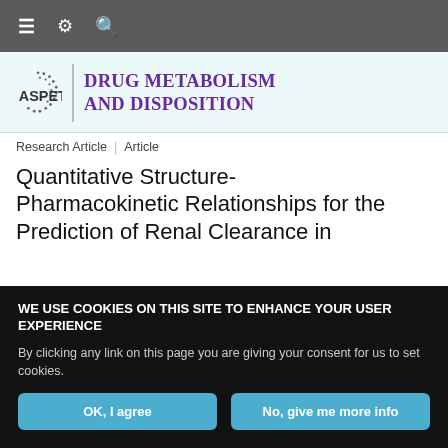Navigation bar with menu, settings, and search icons
[Figure (logo): ASPET logo with circular dot pattern followed by Drug Metabolism and Disposition journal title in purple]
Research Article | Article
Quantitative Structure-Pharmacokinetic Relationships for the Prediction of Renal Clearance in
WE USE COOKIES ON THIS SITE TO ENHANCE YOUR USER EXPERIENCE

By clicking any link on this page you are giving your consent for us to set cookies.

OK, I agree | No, give me more info